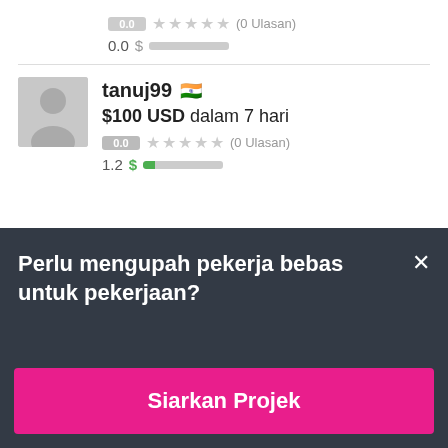0.0 ☆☆☆☆☆ (0 Ulasan)
0.0 $ ▬▬▬▬▬▬▬▬▬
tanuj99 🇮🇳
$100 USD dalam 7 hari
0.0 ☆☆☆☆☆ (0 Ulasan)
1.2 $ ▬▬▬▬▬▬▬▬▬
Perlu mengupah pekerja bebas untuk pekerjaan?
Siarkan Projek